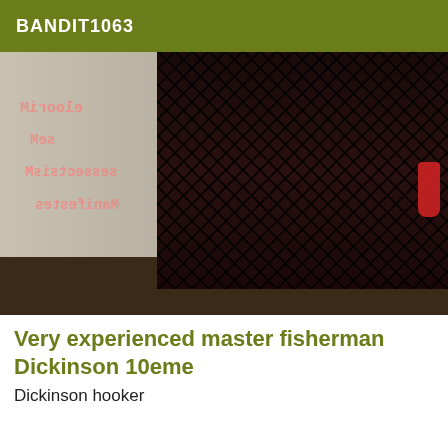BANDIT1063
[Figure (photo): Photo of person wearing fishnet stockings and high heeled boots standing in a corner with red and white/grey walls, patterned tile floor. Watermark text overlaid in mirrored/reversed pink text reading 'elooriM seccesstisM Manifestes']
Very experienced master fisherman Dickinson 10eme
Dickinson hooker